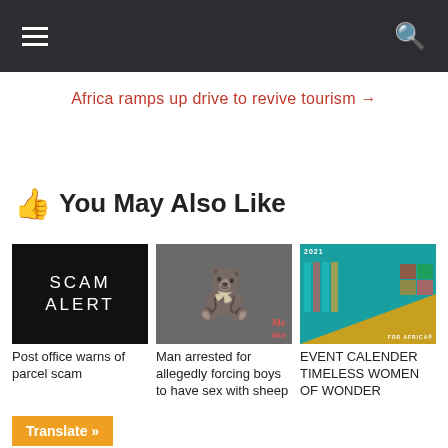Navigation header with hamburger menu and search icon
Africa ramps up drive to revive tourism →
👍 You May Also Like
[Figure (photo): Black background with white text reading SCAM ALERT]
Post office warns of parcel scam
[Figure (photo): Teddy bear against a wall with graffiti 'Me too']
Man arrested for allegedly forcing boys to have sex with sheep
[Figure (other): 2021 calendar/brochure with teal and gold design reading FOR AFRICA]
EVENT CALENDER TIMELESS WOMEN OF WONDER
Translate »